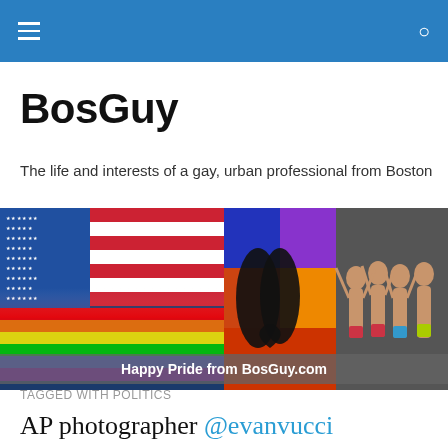BosGuy navigation bar
BosGuy
The life and interests of a gay, urban professional from Boston
[Figure (photo): Collage of three images: American flag with rainbow flag overlay on left, silhouette of kissing couple in center, group of men in swimwear on right]
Happy Pride from BosGuy.com
TAGGED WITH POLITICS
AP photographer @evanvucci captured this photograph of Pres.